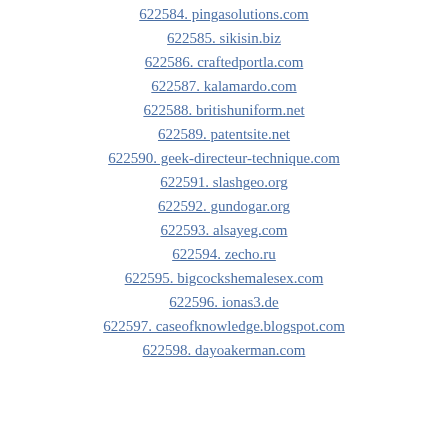622584. pingasolutions.com
622585. sikisin.biz
622586. craftedportla.com
622587. kalamardo.com
622588. britishuniform.net
622589. patentsite.net
622590. geek-directeur-technique.com
622591. slashgeo.org
622592. gundogar.org
622593. alsayeg.com
622594. zecho.ru
622595. bigcockshemalesex.com
622596. ionas3.de
622597. caseofknowledge.blogspot.com
622598. dayoakerman.com